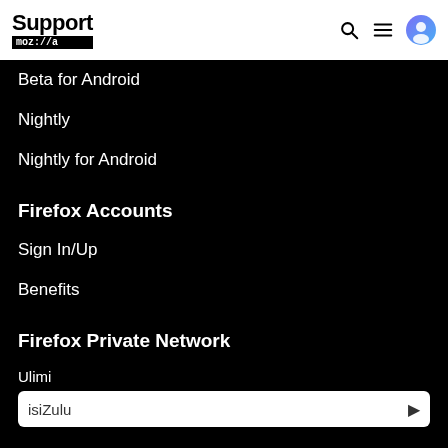Support mozilla
Beta for Android
Nightly
Nightly for Android
Firefox Accounts
Sign In/Up
Benefits
Firefox Private Network
Ulimi
isiZulu